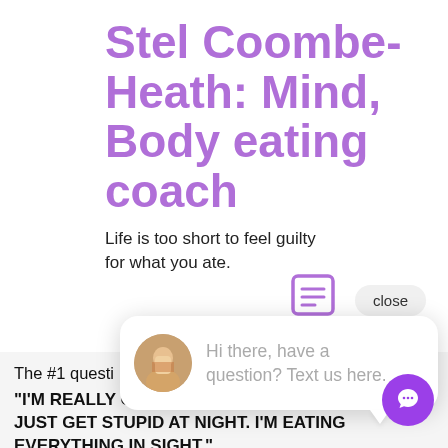Stel Coombe-Heath: Mind, Body eating coach
Life is too short to feel guilty for what you ate.
[Figure (screenshot): Chat popup bubble overlay showing avatar and message 'Hi there, have a question? Text us here.' with a close button and chat icon]
The #1 questi
“I’M REALLY GOOD ALL DAY LONG AND THEN I JUST GET STUPID AT NIGHT. I’M EATING EVERYTHING IN SIGHT.”
My client Mel could not stop binge eating at night